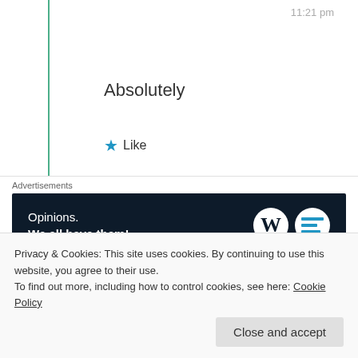11:21 pm
Absolutely
★ Like
Advertisements
[Figure (other): WordPress advertisement banner with text 'Opinions. We all have them!' and WordPress logo on dark navy background]
REPORT THIS AD
[Figure (photo): Circular avatar photo of Jonathan Caswell, a man outdoors with trees in background]
Jonathan Caswell
23rd Jun 2021 at 10:54 am
Privacy & Cookies: This site uses cookies. By continuing to use this website, you agree to their use.
To find out more, including how to control cookies, see here: Cookie Policy
Close and accept
Log in to Reply